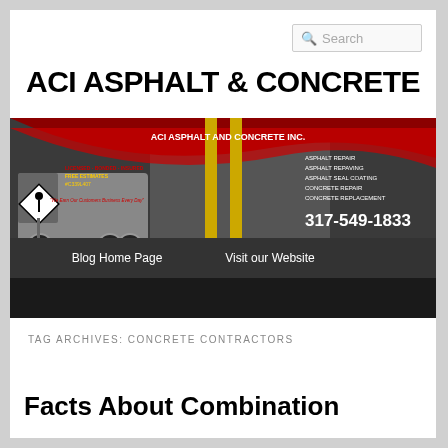Search
ACI ASPHALT & CONCRETE
[Figure (illustration): ACI Asphalt and Concrete Inc. banner image with a dump truck, construction worker sign, asphalt road with yellow lines, company name, services list (Asphalt Repair, Asphalt Repaving, Asphalt Seal Coating, Concrete Repair, Concrete Replacement), phone number 317-549-1833, and navigation bar with Blog Home Page and Visit our Website links. Red swoosh design at top.]
TAG ARCHIVES: CONCRETE CONTRACTORS
Facts About Combination